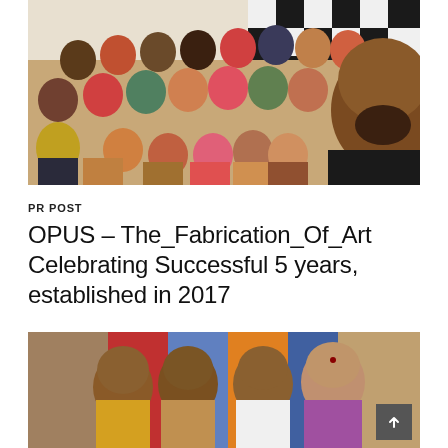[Figure (photo): Group selfie photo of approximately 25-30 people, including men, women, and children, standing in front of a black and white checkered banner/backdrop indoors.]
PR POST
OPUS – The_Fabrication_Of_Art Celebrating Successful 5 years, established in 2017
[Figure (photo): Photo of two older women and two older men posing together in front of colorful fabric/banners outdoors.]